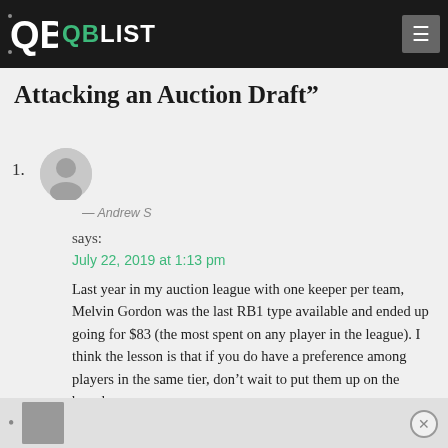QB LIST
Attacking an Auction Draft"
— Andrew S
says:
July 22, 2019 at 1:13 pm
Last year in my auction league with one keeper per team, Melvin Gordon was the last RB1 type available and ended up going for $83 (the most spent on any player in the league). I think the lesson is that if you do have a preference among players in the same tier, don't wait to put them up on the board.
Reply